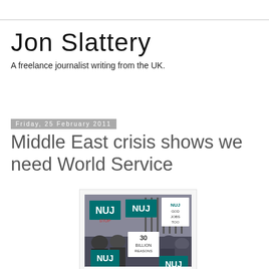Jon Slattery
A freelance journalist writing from the UK.
Friday, 25 February 2011
Middle East crisis shows we need World Service
[Figure (photo): Protest photo showing people holding NUJ signs and a banner reading 'Save the World Service'. Signs include 'NUJ', '30 billion reasons', and other protest placards.]